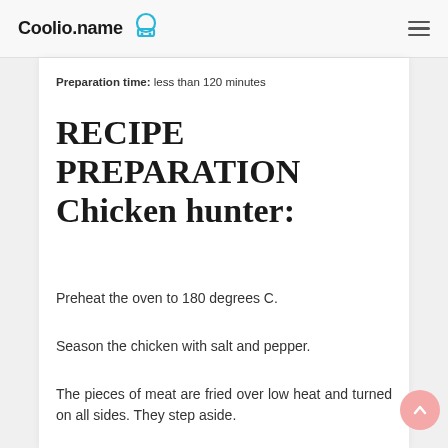Coolio.name
Preparation time: less than 120 minutes
RECIPE PREPARATION Chicken hunter:
Preheat the oven to 180 degrees C.
Season the chicken with salt and pepper.
The pieces of meat are fried over low heat and turned on all sides. They step aside.
Cut the julienned onion and fry with the